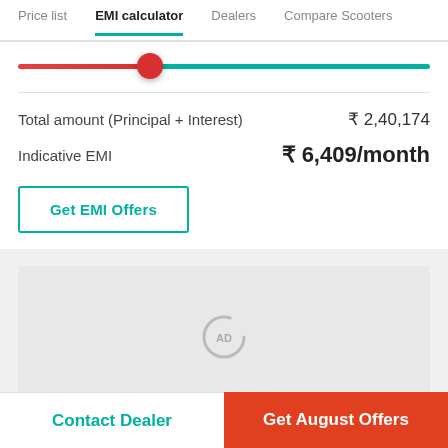Price list | EMI calculator | Dealers | Compare Scooters
[Figure (other): Horizontal slider with red filled left portion and teal right portion, red circular thumb handle at approximately 32% position]
Total amount (Principal + Interest)	₹ 2,40,174
Indicative EMI	₹ 6,409/month
Get EMI Offers
[Figure (other): Advertisement placeholder with spinning loader icon showing 'AD']
Contact Dealer
Get August Offers